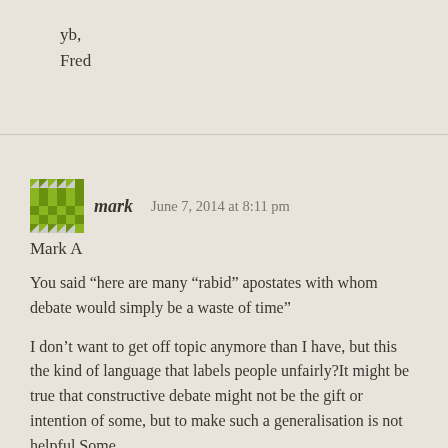yb,
Fred
mark   June 7, 2014 at 8:11 pm
Mark A
You said “here are many “rabid” apostates with whom debate would simply be a waste of time”
I don’t want to get off topic anymore than I have, but this the kind of language that labels people unfairly?It might be true that constructive debate might not be the gift or intention of some, but to make such a generalisation is not helpful.Some